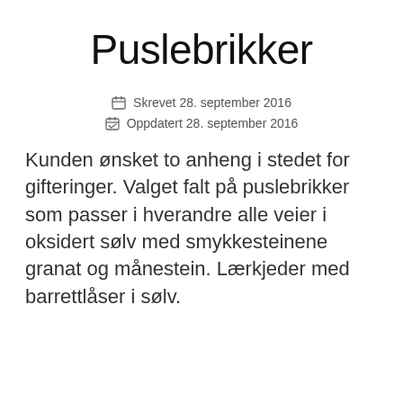Puslebrikker
Skrevet 28. september 2016
Oppdatert 28. september 2016
Kunden ønsket to anheng i stedet for gifteringer. Valget falt på puslebrikker som passer i hverandre alle veier i oksidert sølv med smykkesteinene granat og månestein. Lærkjeder med barrettlåser i sølv.